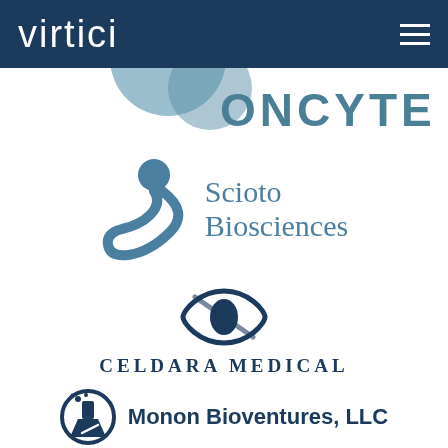[Figure (logo): Virtici website header with 'virtici' wordmark in white on dark navy background, and a hamburger menu icon on the right]
[Figure (logo): Oncyte logo — partially visible at top, circular grey-blue icon with 'ONCYTE' text in teal-grey uppercase letters]
[Figure (logo): Scioto Biosciences logo — abstract figure/person icon in steel blue on the left, 'Scioto Biosciences' text in steel blue serif font on the right]
[Figure (logo): Celdara Medical logo — stylized eye or lens shape in navy blue above 'CELDARA MEDICAL' in navy spaced uppercase letters]
[Figure (logo): Monon Bioventures, LLC logo — circular navy icon with lab/flask symbol and bubbles, 'Monon Bioventures, LLC' in bold navy text]